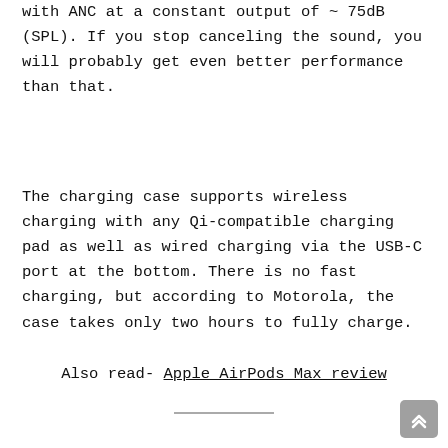with ANC at a constant output of ~ 75dB (SPL). If you stop canceling the sound, you will probably get even better performance than that.
The charging case supports wireless charging with any Qi-compatible charging pad as well as wired charging via the USB-C port at the bottom. There is no fast charging, but according to Motorola, the case takes only two hours to fully charge.
Also read- Apple AirPods Max review